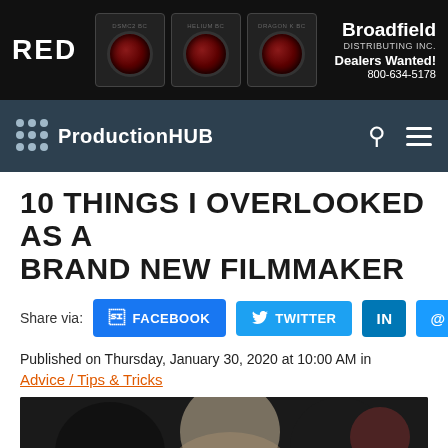[Figure (photo): Advertisement banner for RED cameras with Broadfield Distributing Inc. text: Dealers Wanted! 800-634-5178]
ProductionHUB
10 THINGS I OVERLOOKED AS A BRAND NEW FILMMAKER
Share via: FACEBOOK TWITTER in @
Published on Thursday, January 30, 2020 at 10:00 AM in Advice / Tips & Tricks
[Figure (photo): Blurred photo of people, appears to be a filmmaking or interview scene with dark and light tones]